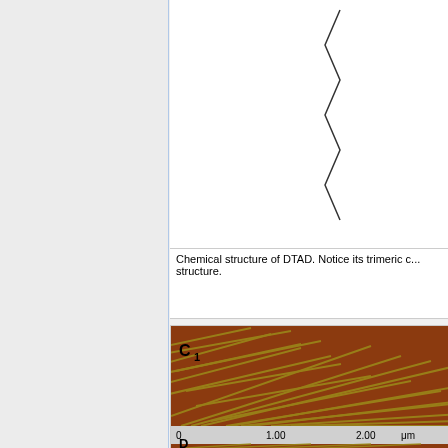[Figure (illustration): Chemical structure of DTAD showing a zigzag/trimeric carbon chain structure against white background]
Chemical structure of DTAD. Notice its trimeric c... structure.
[Figure (photo): AFM image labeled C1 showing diagonal striped pattern of brown/rust colored surface with olive/yellow linear features, scale bar showing 0, 1.00, 2.00 μm. Below is a partial D1 strip with similar diagonal pattern.]